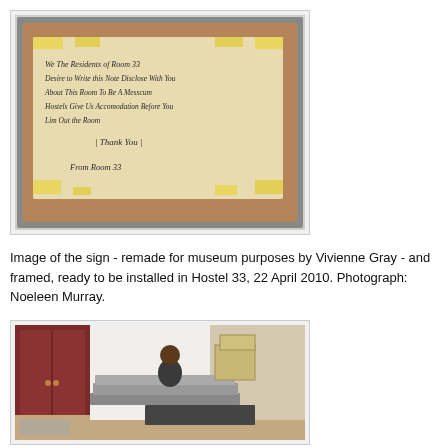[Figure (photo): A framed handwritten sign on cardboard, taped with yellow tape to a corkboard backing inside a grey frame. The sign reads: 'We the Residents of Room 33 Desire to Write this Note Disclose With You About This Room to be a Messcum Hostels Give Us Accomodation Before You Lim Out the Room | Thank You | From Room 33']
Image of the sign - remade for museum purposes by Vivienne Gray - and framed, ready to be installed in Hostel 33, 22 April 2010. Photograph: Noeleen Murray.
[Figure (photo): A person sitting on stacked mattresses in a room being packed up, with a dark red wardrobe visible on the left and boxes in the background.]